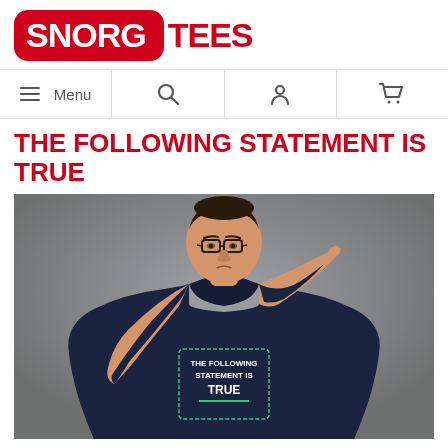[Figure (logo): SnorgTees logo - red rounded rectangle with white bold text SNORG and dark red TEES text outside]
[Figure (screenshot): Navigation bar with hamburger Menu icon, search icon, user icon, and shopping cart icon]
THE FOLLOWING STATEMENT IS TRUE
[Figure (photo): Man wearing dark navy t-shirt with text THE FOLLOWING STATEMENT IS TRUE printed on it, pointing to his temple with a thinking expression, gray background]